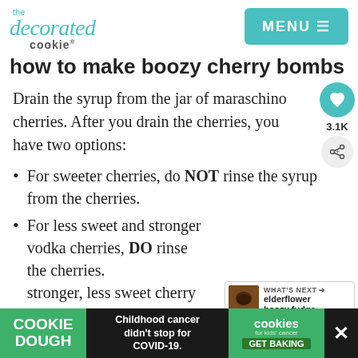the decorated cookie — MENU
how to make boozy cherry bombs
Drain the syrup from the jar of maraschino cherries. After you drain the cherries, you have two options:
For sweeter cherries, do NOT rinse the syrup from the cherries.
For less sweet and stronger vodka cherries, DO rinse the cherries. stronger, less sweet cherry bombs, so I
[Figure (screenshot): Social widget with heart/favorite button showing 3.1K count and share button]
[Figure (screenshot): WHAT'S NEXT arrow callout showing elderflower boozy fudge with thumbnail]
[Figure (screenshot): Advertisement bar: COOKIE DOUGH, Childhood cancer didn't stop for COVID-19, cookies for kids' cancer GET BAKING]